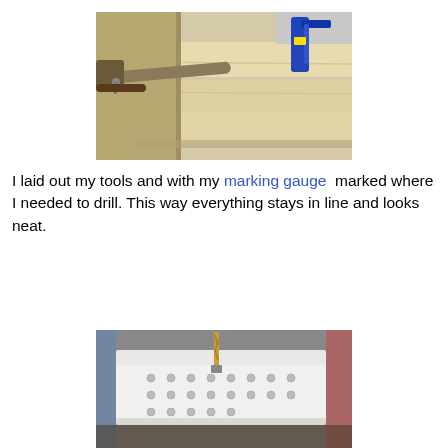[Figure (photo): Close-up photo of a marking gauge being used on light-colored wood boards. A metal and wood marking gauge tool is visible on the left, with pine/wood planks and a blue clamp visible in the background.]
I laid out my tools and with my marking gauge  marked where I needed to drill. This way everything stays in line and looks neat.
[Figure (photo): Photo of a white wooden box or tray with multiple holes drilled into it in rows, with a drill bit visible drilling into it. Workshop tools and materials are visible in the background.]